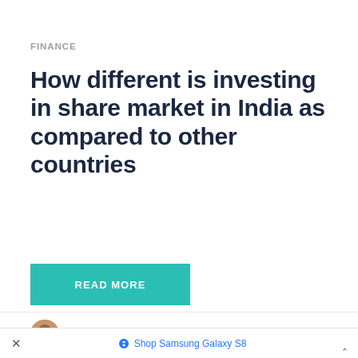FINANCE
How different is investing in share market in India as compared to other countries
READ MORE
VICKIE SAUNDERS | JANUARY 10, 2022
× Shop Samsung Galaxy S8 ^